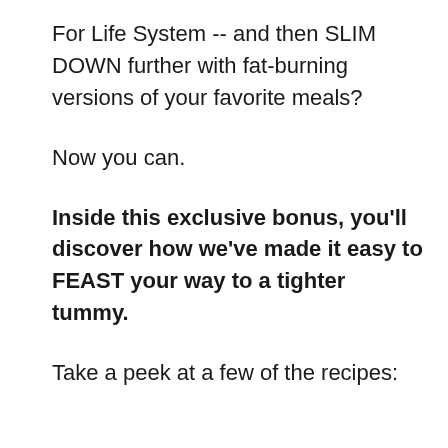For Life System -- and then SLIM DOWN further with fat-burning versions of your favorite meals?
Now you can.
Inside this exclusive bonus, you'll discover how we've made it easy to FEAST your way to a tighter tummy.
Take a peek at a few of the recipes: